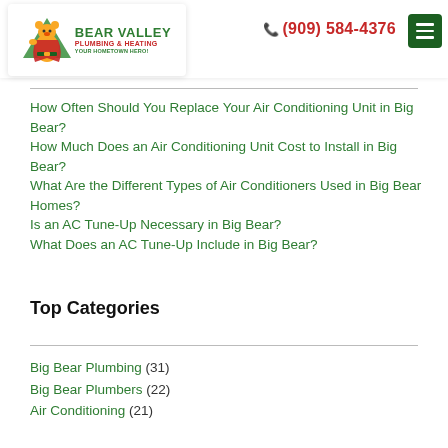[Figure (logo): Bear Valley Plumbing & Heating logo with bear mascot and tagline 'Your Hometown Hero!']
(909) 584-4376
How Often Should You Replace Your Air Conditioning Unit in Big Bear?
How Much Does an Air Conditioning Unit Cost to Install in Big Bear?
What Are the Different Types of Air Conditioners Used in Big Bear Homes?
Is an AC Tune-Up Necessary in Big Bear?
What Does an AC Tune-Up Include in Big Bear?
Top Categories
Big Bear Plumbing (31)
Big Bear Plumbers (22)
Air Conditioning (21)